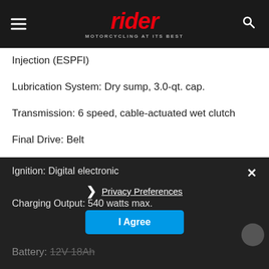rider MOTORCYCLING AT ITS BEST
Injection (ESPFI)
Lubrication System: Dry sump, 3.0-qt. cap.
Transmission: 6 speed, cable-actuated wet clutch
Final Drive: Belt
Electrical
Ignition: Digital electronic
Charging Output: 540 watts max.
Battery: 12V 18Ah
Privacy Preferences
I Agree